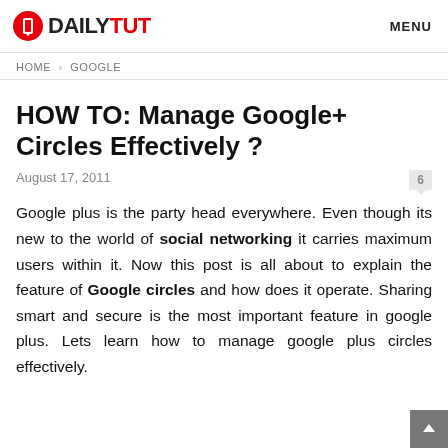DAILY TUT   MENU
HOME › GOOGLE
HOW TO: Manage Google+ Circles Effectively ?
August 17, 2011
Google plus is the party head everywhere. Even though its new to the world of social networking it carries maximum users within it. Now this post is all about to explain the feature of Google circles and how does it operate. Sharing smart and secure is the most important feature in google plus. Lets learn how to manage google plus circles effectively.